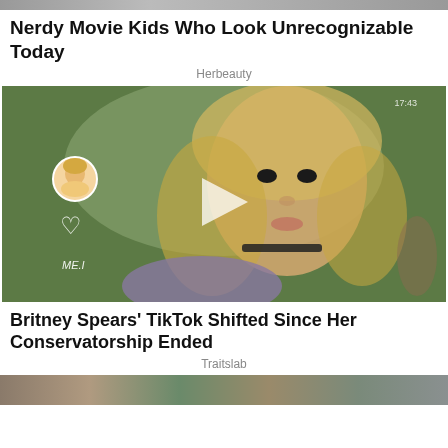Nerdy Movie Kids Who Look Unrecognizable Today
Herbeauty
[Figure (photo): Photo of Britney Spears with long blonde hair, wearing a black choker necklace, with avatar circle overlay, heart icon, and play button overlay. Green trees in background.]
Britney Spears' TikTok Shifted Since Her Conservatorship Ended
Traitslab
[Figure (photo): Partial bottom strip showing another image below]